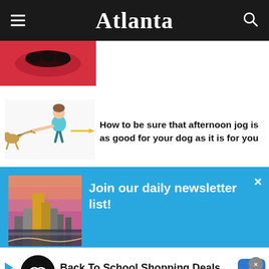Atlanta
[Figure (photo): Red background thumbnail with dark objects, partially visible at top]
[Figure (illustration): Cartoon illustration of a person being pulled forward by a dog on a leash]
How to be sure that afternoon jog is as good for your dog as it is for you
[Figure (photo): Atlanta city skyline at dusk with pink/purple sky]
Join our daily newsletter list!
Start your morning with us. The Daily Brief delivers Atlanta's latest news and top stories right to...
[Figure (infographic): Advertisement: Back To School Shopping Deals - Leesburg Premium Outlets with logo and navigation icon]